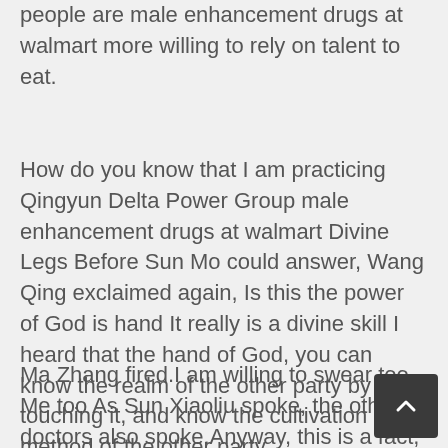people are male enhancement drugs at walmart more willing to rely on talent to eat.
How do you know that I am practicing Qingyun Delta Power Group male enhancement drugs at walmart Divine Legs Before Sun Mo could answer, Wang Qing exclaimed again, Is this the power of God is hand It really is a divine skill I heard that the hand of God, you can know the realm of the other party by touching it, and know the cultivation method of the other party.
Ma Zhang fired.I am willing to swear too Me too As Sun Xiaoliu spoke, the other doctors also spoke.Anyway, this is a fact, and there is nothing to be afraid